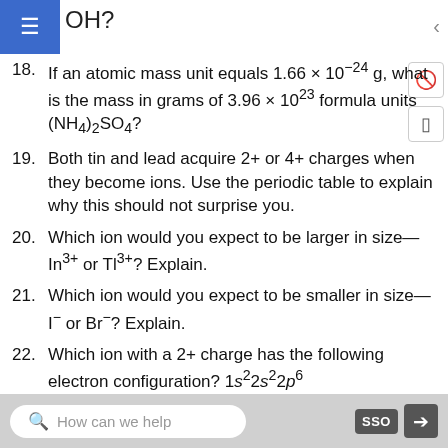OH?
18. If an atomic mass unit equals 1.66 × 10⁻²⁴ g, what is the mass in grams of 3.96 × 10²³ formula units (NH₄)₂SO₄?
19. Both tin and lead acquire 2+ or 4+ charges when they become ions. Use the periodic table to explain why this should not surprise you.
20. Which ion would you expect to be larger in size—In³⁺ or Tl³⁺? Explain.
21. Which ion would you expect to be smaller in size—I⁻ or Br⁻? Explain.
22. Which ion with a 2+ charge has the following electron configuration? 1s²2s²2p⁶
23. Which ion with a 3− charge has the following electron configuration? 1s²2s²2p⁶
How can we help   SSO